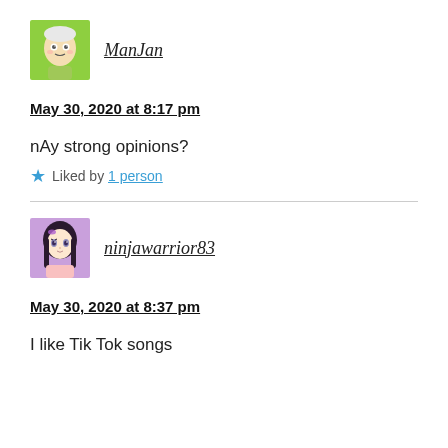[Figure (illustration): User avatar for ManJan, cartoon character with green background]
ManJan
May 30, 2020 at 8:17 pm
nAy strong opinions?
★ Liked by 1 person
[Figure (illustration): User avatar for ninjawarrior83, anime girl with purple background]
ninjawarrior83
May 30, 2020 at 8:37 pm
I like Tik Tok songs